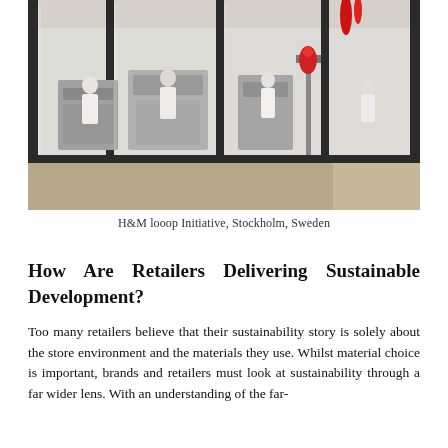[Figure (photo): Interior photo of H&M looop Initiative facility in Stockholm, Sweden. Shows workers in white lab coats working at industrial machinery behind large glass panel walls in a modern, bright facility.]
H&M looop Initiative, Stockholm, Sweden
How Are Retailers Delivering Sustainable Development?
Too many retailers believe that their sustainability story is solely about the store environment and the materials they use. Whilst material choice is important, brands and retailers must look at sustainability through a far wider lens. With an understanding of the far-reaching consequences of sustainable development across